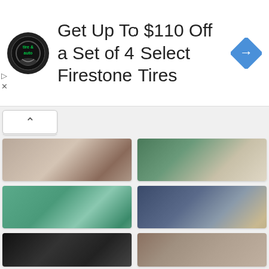[Figure (screenshot): Advertisement banner: Firestone tire & auto logo, text 'Get Up To $110 Off a Set of 4 Select Firestone Tires', navigation arrow icon]
[Figure (photo): Item 29: Child lying down, cold and flu season image]
29. It's the Cold and Flu Season – Some helpful tips to get you through it!
[Figure (photo): Item 30: Shabby chic tea box with green book/box]
30. shabby chic tea box !
[Figure (photo): Item 31: Teal/green decorative tealight holders]
31. tealight holders!
[Figure (photo): Item 32: Sock knitting with needles on burlap background]
32. Sock Knit Along Part II at Lilly My Cat
[Figure (photo): Item 33: Dark image, bottom left card (partial)]
[Figure (photo): Item 34: Knitted item, bottom right card (partial)]